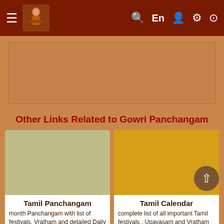≡ [logo] 🔍 En 👤 ⚙ ⊙
[Figure (other): Advertisement banner area with tan/orange background]
Other Links Related to Gowri Panchangam
[Figure (other): Card image: olive/tan colored rectangle placeholder for Tamil Panchangam]
Tamil Panchangam
month Panchangam with list of festivals, Vratham and detailed Daily Panchangam with Tamil Yogam
[Figure (other): Card image: golden yellow rectangle placeholder for Tamil Calendar]
Tamil Calendar
complete list of all important Tamil festivals , Upavasam and Vratham as per Tamil Solar calendar